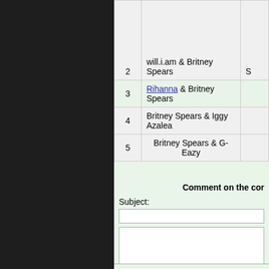| # | Artist |  |
| --- | --- | --- |
| 2 | will.i.am & Britney Spears | S |
| 3 | Rihanna & Britney Spears |  |
| 4 | Britney Spears & Iggy Azalea |  |
| 5 | Britney Spears & G-Eazy |  |
Comment on the con
Subject: